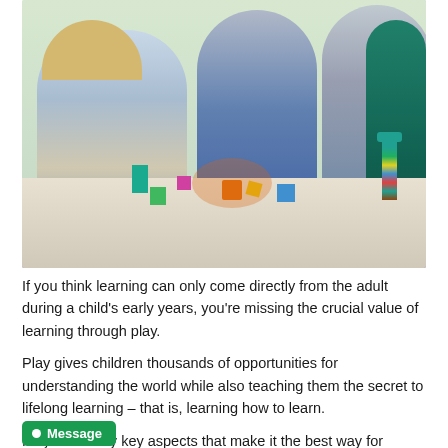[Figure (photo): Four young children sitting on a floor playing together with colorful wooden building blocks, stacking them into towers on a white mat with drawings.]
If you think learning can only come directly from the adult during a child's early years, you're missing the crucial value of learning through play.
Play gives children thousands of opportunities for understanding the world while also teaching them the secret to lifelong learning – that is, learning how to learn.
Play has many key aspects that make it the best way for